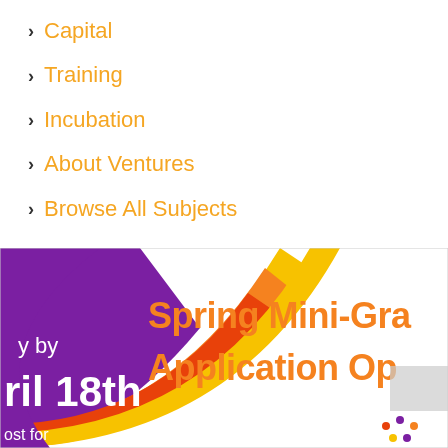Capital
Training
Incubation
About Ventures
Browse All Subjects
[Figure (illustration): Promotional banner for Spring Mini-Grant Application Open with purple and orange/yellow arc design and X-pattern background. Text reads 'Spring Mini-Gra[nt]', 'Application Op[en]', 'y by', 'ril 18th', 'ost for'. Partially cropped on right side.]